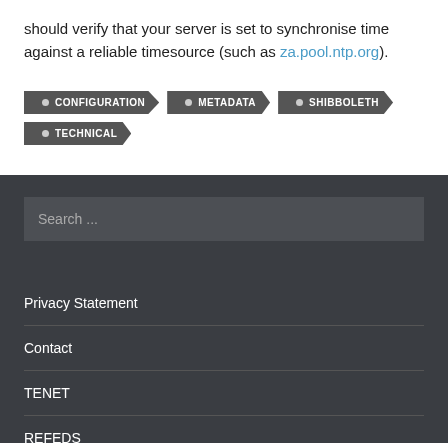should verify that your server is set to synchronise time against a reliable timesource (such as za.pool.ntp.org).
CONFIGURATION
METADATA
SHIBBOLETH
TECHNICAL
Search ...
Privacy Statement
Contact
TENET
REFEDS